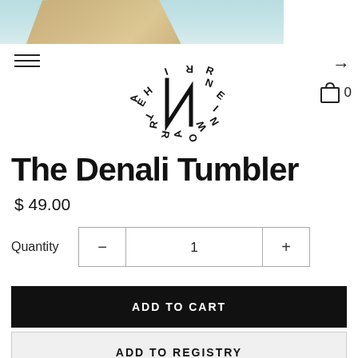[Figure (photo): Partial product photo showing a wooden/organic shaped tumbler on a blue-green surface, cropped at top]
[Figure (logo): ARE NORTH circular logo with rune-like N symbol in center]
The Denali Tumbler
$ 49.00
Quantity  −  1  +
ADD TO CART
ADD TO REGISTRY
Share